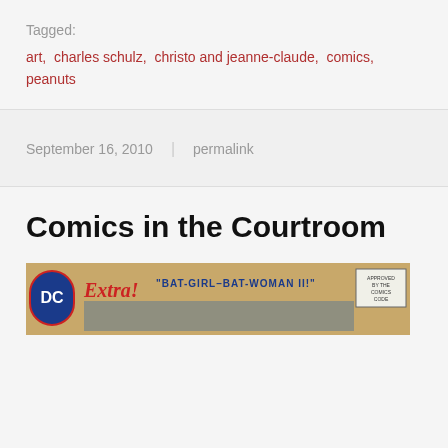Tagged:
art,  charles schulz,  christo and jeanne-claude,  comics,  peanuts
September 16, 2010  |  permalink
Comics in the Courtroom
[Figure (photo): Partial view of a vintage DC Comics cover featuring Extra! Bat-Girl – Bat-Woman II!, with approved by the Comics Code seal visible]